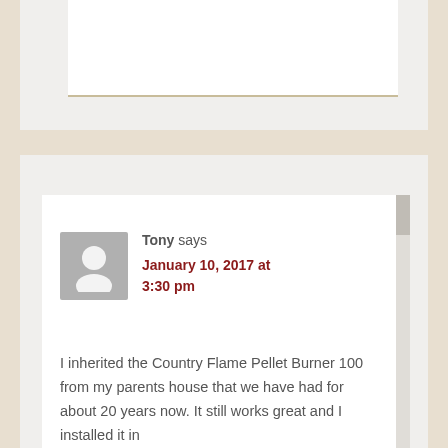[Figure (screenshot): Partial top white card with bordered inner box, partially visible at top of page]
[Figure (screenshot): Comment card with avatar placeholder (gray silhouette), author name Tony, date January 10, 2017 at 3:30 pm, and comment text beginning with 'I inherited the Country Flame Pellet Burner 100 from my parents house that we have had for about 20 years now. It still works great and I installed it in']
Tony says
January 10, 2017 at 3:30 pm
I inherited the Country Flame Pellet Burner 100 from my parents house that we have had for about 20 years now. It still works great and I installed it in